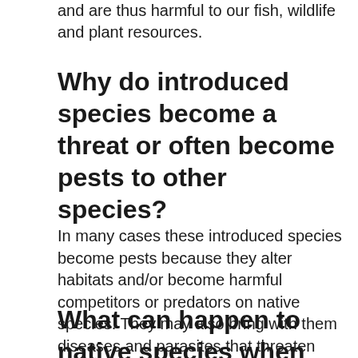and are thus harmful to our fish, wildlife and plant resources.
Why do introduced species become a threat or often become pests to other species?
In many cases these introduced species become pests because they alter habitats and/or become harmful competitors or predators on native species. They may also bring with them diseases and parasites that threaten humans and other species.
What can happen to native species when you introduce